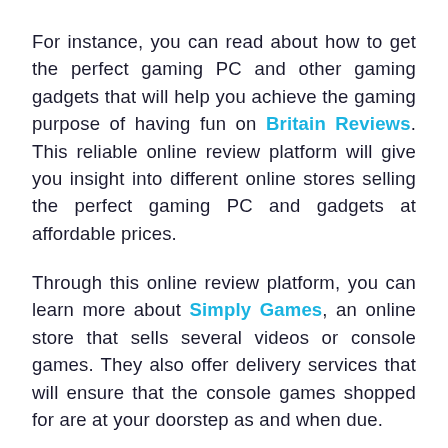For instance, you can read about how to get the perfect gaming PC and other gaming gadgets that will help you achieve the gaming purpose of having fun on Britain Reviews. This reliable online review platform will give you insight into different online stores selling the perfect gaming PC and gadgets at affordable prices.
Through this online review platform, you can learn more about Simply Games, an online store that sells several videos or console games. They also offer delivery services that will ensure that the console games shopped for are at your doorstep as and when due.
Online reviews will also help you know the price lists of different ranges of gaming PC. You may also